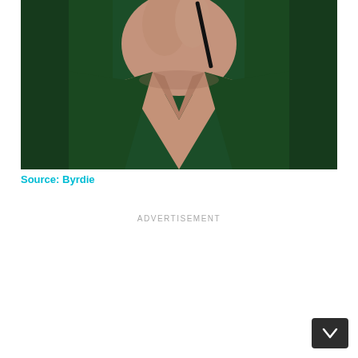[Figure (photo): Close-up photo of a person wearing a dark green blazer or top with a deep V-neckline, hand raised near chin holding a pen/pencil]
Source: Byrdie